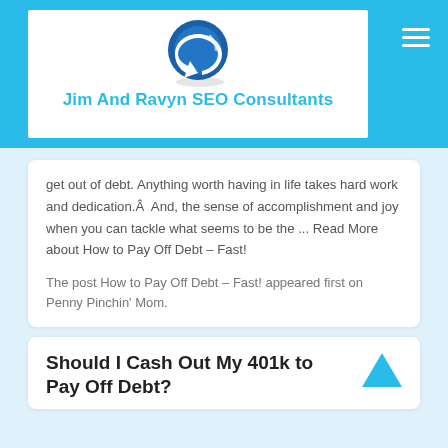[Figure (logo): Jim And Ravyn SEO Consultants logo — blue circular arrow icon with site name below]
Jim And Ravyn SEO Consultants
get out of debt. Anything worth having in life takes hard work and dedication.Â  And, the sense of accomplishment and joy when you can tackle what seems to be the ... Read More about How to Pay Off Debt – Fast!
The post How to Pay Off Debt – Fast! appeared first on Penny Pinchin' Mom.
Should I Cash Out My 401k to Pay Off Debt?